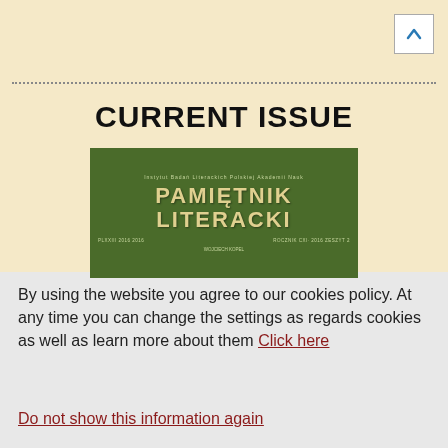[Figure (other): Scroll-to-top button with upward arrow in top right corner]
CURRENT ISSUE
[Figure (illustration): Cover of Pamiętnik Literacki journal - dark green background with title text in decorative golden/yellow letters]
By using the website you agree to our cookies policy. At any time you can change the settings as regards cookies as well as learn more about them Click here
Do not show this information again